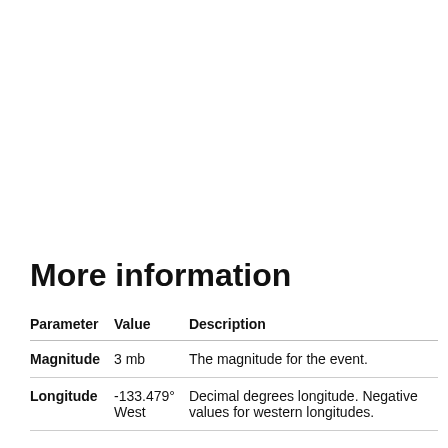More information
| Parameter | Value | Description |
| --- | --- | --- |
| Magnitude | 3 mb | The magnitude for the event. |
| Longitude | -133.479° West | Decimal degrees longitude. Negative values for western longitudes. |